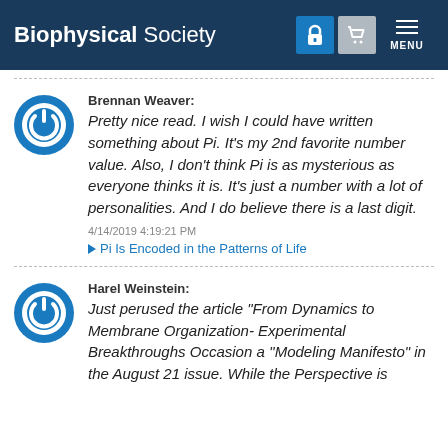Biophysical Society  MENU
Brennan Weaver: Pretty nice read. I wish I could have written something about Pi. It's my 2nd favorite number value. Also, I don't think Pi is as mysterious as everyone thinks it is. It's just a number with a lot of personalities. And I do believe there is a last digit.
4/14/2019 4:19:21 PM
Pi Is Encoded in the Patterns of Life
Harel Weinstein: Just perused the article "From Dynamics to Membrane Organization- Experimental Breakthroughs Occasion a ''Modeling Manifesto" in the August 21 issue. While the Perspective is